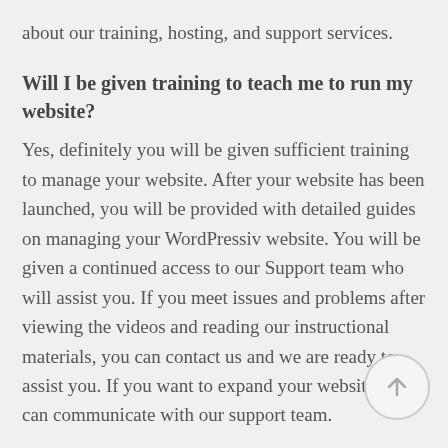about our training, hosting, and support services.
Will I be given training to teach me to run my website?
Yes, definitely you will be given sufficient training to manage your website. After your website has been launched, you will be provided with detailed guides on managing your WordPressiv website. You will be given a continued access to our Support team who will assist you. If you meet issues and problems after viewing the videos and reading our instructional materials, you can contact us and we are ready to assist you. If you want to expand your website, you can communicate with our support team.